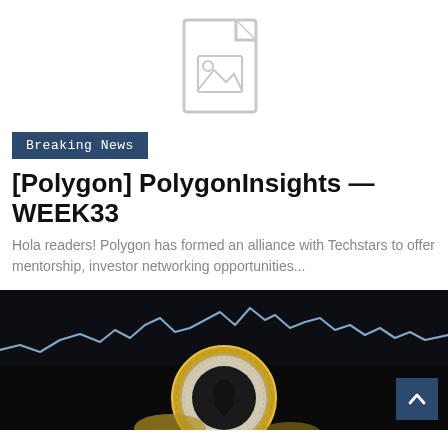[Figure (illustration): Placeholder document icon with image symbol in light gray outline style]
Breaking News
[Polygon] PolygonInsights — WEEK33
Hola readers! Polygon has formed an alliance with Techstars to offer mentorship, investor networking opportunities...
[Figure (photo): Close-up of a cryptocurrency coin (Ripple/XRP style) in gold and silver, set against a dark background with a glowing blue stock market line chart on a screen behind it. A dark blue scroll-to-top button with an up arrow is visible in the bottom right corner.]